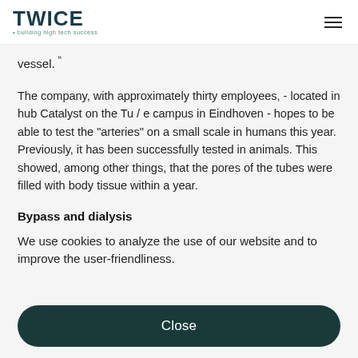TWICE • building high tech success
vessel. "
The company, with approximately thirty employees, - located in hub Catalyst on the Tu / e campus in Eindhoven - hopes to be able to test the "arteries" on a small scale in humans this year. Previously, it has been successfully tested in animals. This showed, among other things, that the pores of the tubes were filled with body tissue within a year.
Bypass and dialysis
We use cookies to analyze the use of our website and to improve the user-friendliness.
Close